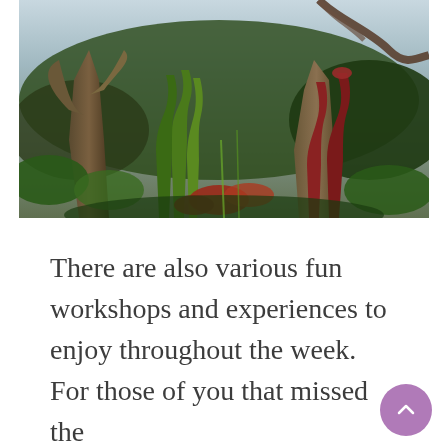[Figure (photo): Greenhouse interior with carnivorous pitcher plants (Sarracenia), mossy driftwood structures, and various tropical plants under a glass roof]
There are also various fun workshops and experiences to enjoy throughout the week. For those of you that missed the